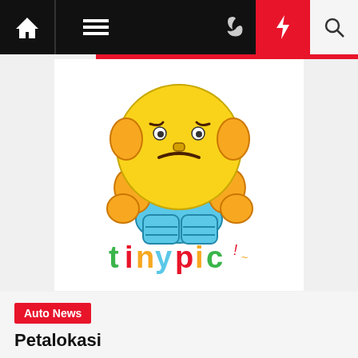Navigation bar with home, menu, moon, bolt, and search icons
[Figure (logo): TinyPic logo: cartoon character with yellow round head, orange arms, blue body/pants, frowning face, with colorful 'tinypic' text below]
Auto News
Petalokasi
Betty  3 years ago